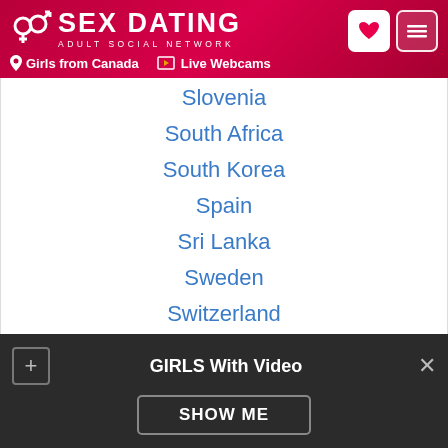SEX DATING - ADULT SOCIAL NETWORK | Girls from Canada | Live Webcams
Slovenia
South Africa
South Korea
Spain
Sri Lanka
Sweden
Switzerland
Taiwan
Thailand
Turkey
United Arab Emirates
Uruguay
USA
GIRLS With Video | SHOW ME